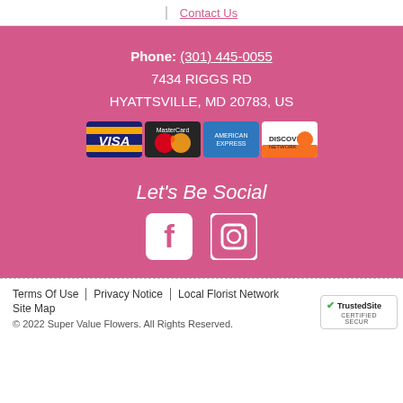Contact Us
Phone: (301) 445-0055
7434 RIGGS RD
HYATTSVILLE, MD 20783, US
[Figure (illustration): Payment method logos: VISA, MasterCard, American Express, Discover]
Let's Be Social
[Figure (illustration): Facebook and Instagram social media icons in white]
Terms Of Use | Privacy Notice | Local Florist Network | Site Map
© 2022 Super Value Flowers. All Rights Reserved.
TrustedSite CERTIFIED SECURE